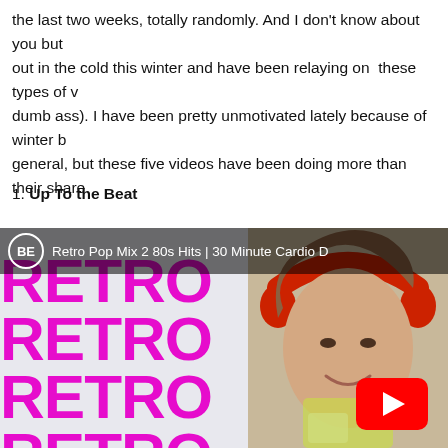the last two weeks, totally randomly. And I don't know about you but out in the cold this winter and have been relaying on these types of v dumb ass). I have been pretty unmotivated lately because of winter b general, but these five videos have been doing more than their share
1. Up To the Beat
[Figure (screenshot): YouTube video thumbnail for 'Retro Pop Mix 2 80s Hits | 30 Minute Cardio D...' showing large pink RETRO text repeated multiple times on a light background, with a woman wearing red headphones on the right side and a red YouTube play button overlay.]